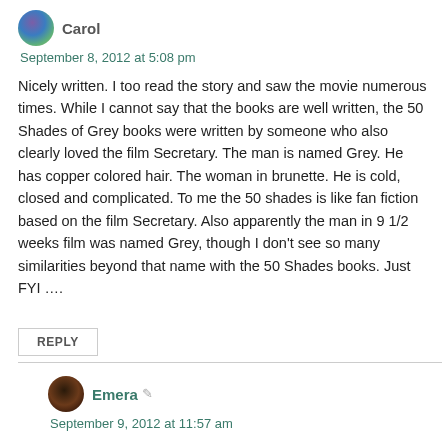Carol
September 8, 2012 at 5:08 pm
Nicely written. I too read the story and saw the movie numerous times. While I cannot say that the books are well written, the 50 Shades of Grey books were written by someone who also clearly loved the film Secretary. The man is named Grey. He has copper colored hair. The woman in brunette. He is cold, closed and complicated. To me the 50 shades is like fan fiction based on the film Secretary. Also apparently the man in 9 1/2 weeks film was named Grey, though I don't see so many similarities beyond that name with the 50 Shades books. Just FYI ….
REPLY
Emera
September 9, 2012 at 11:57 am